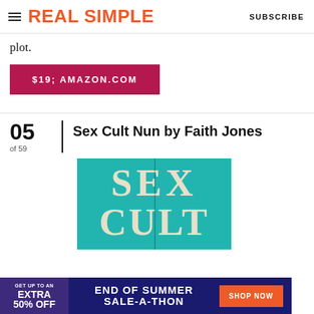REAL SIMPLE | SUBSCRIBE
plot.
$19; AMAZON.COM
05 of 59 | Sex Cult Nun by Faith Jones
[Figure (photo): Book cover of 'Sex Cult Nun' with teal background and large cream serif letters reading SEX CULT]
[Figure (other): Advertisement banner: GET UP TO AN EXTRA 50% OFF | END OF SUMMER SALE-A-THON | SHOP NOW]